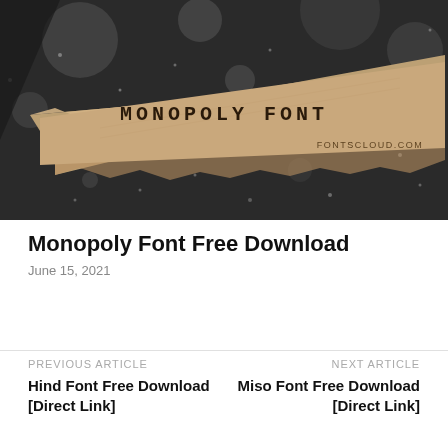[Figure (photo): Dark background with rain droplets on glass. A diagonal torn paper strip with tan/kraft color shows the text 'MONOPOLY FONT' in monospace letters, and 'FONTSCLOUD.COM' in smaller text at the bottom right of the strip.]
Monopoly Font Free Download
June 15, 2021
PREVIOUS ARTICLE
Hind Font Free Download [Direct Link]
NEXT ARTICLE
Miso Font Free Download [Direct Link]